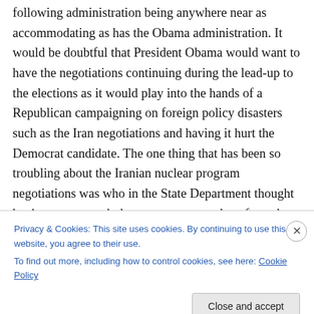following administration being anywhere near as accommodating as has the Obama administration. It would be doubtful that President Obama would want to have the negotiations continuing during the lead-up to the elections as it would play into the hands of a Republican campaigning on foreign policy disasters such as the Iran negotiations and having it hurt the Democrat candidate. The one thing that has been so troubling about the Iranian nuclear program negotiations was who in the State Department thought having pretty much the same team members from the failure that were the North Koran
Privacy & Cookies: This site uses cookies. By continuing to use this website, you agree to their use.
To find out more, including how to control cookies, see here: Cookie Policy